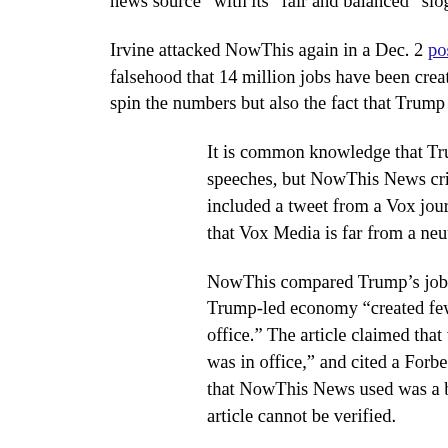news source  with its  fair and balanced  slogan.
Irvine attacked NowThis again in a Dec. 2 post attacking the outlet for covering Trump's falsehood that 14 million jobs have been created during his presidency. Irvine not only tried to spin the numbers but also the fact that Trump lies a lot:
It is common knowledge that Trump tends to embellish the facts during his speeches, but NowThis News criticized Trump for the embellishment. NowThis included a tweet from a Vox journalist who called Trump's remarks "lies," despite that Vox Media is far from a neutral source of news and a
NowThis compared Trump's job creation numbers to Obama's and reported that the Trump-led economy "created fewer than 6 million jobs since Trump has taken office." The article claimed that this was "less than what Obama created when he was in office," and cited a Forbes article to support that claim. However, the link that NowThis News used was a broken link and the information in the Forbes article cannot be verified.
Upon further investigation, a different Forbes article pointed out that Obama created one million more jobs than Trump has at this point in their presidencies, which is a significant difference. However, both Forbes and NowThis did not take into account consumer confidence and how the U.S. economy was on track after Trump's election.
Irvine complained once more in a Dec. 5 post about an allegedly biased coverage of the impeachment hearings: "The lack of ideological balance, in addition to bias and favoritism toward Democratic lawmakers and their witnesses in this"